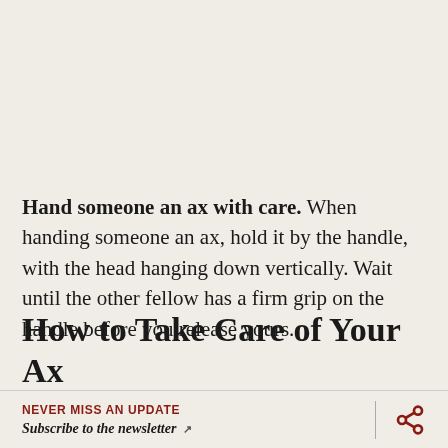Hand someone an ax with care. When handing someone an ax, hold it by the handle, with the head hanging down vertically. Wait until the other fellow has a firm grip on the handle before you release yours.
How to Take Care of Your Ax
With proper care, an ax can last for generations. To ensure
NEVER MISS AN UPDATE
Subscribe to the newsletter